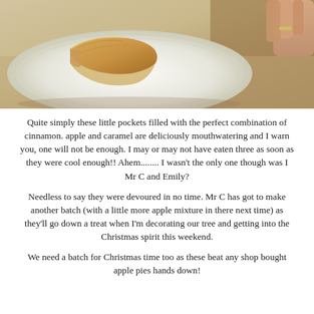[Figure (photo): A close-up photo of a slice of apple pie on a white plate, with a hand visible in the upper right corner holding the plate. The pie has golden-brown pastry crust.]
Quite simply these little pockets filled with the perfect combination of cinnamon. apple and caramel are deliciously mouthwatering and I warn you, one will not be enough. I may or may not have eaten three as soon as they were cool enough!! Ahem........ I wasn't the only one though was I Mr C and Emily?
Needless to say they were devoured in no time. Mr C has got to make another batch (with a little more apple mixture in there next time) as they'll go down a treat when I'm decorating our tree and getting into the Christmas spirit this weekend.
We need a batch for Christmas time too as these beat any shop bought apple pies hands down!